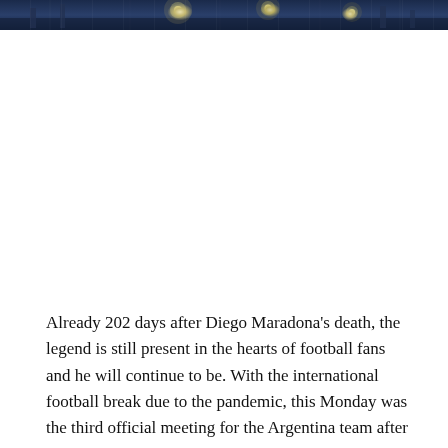[Figure (photo): Dark nighttime stadium or sports venue photo strip showing illuminated floodlights against a dark blue sky, partially cropped at the top of the page]
Already 202 days after Diego Maradona's death, the legend is still present in the hearts of football fans and he will continue to be. With the international football break due to the pandemic, this Monday was the third official meeting for the Argentina team after Diego's death, and the first one in a competition of this magnitude.